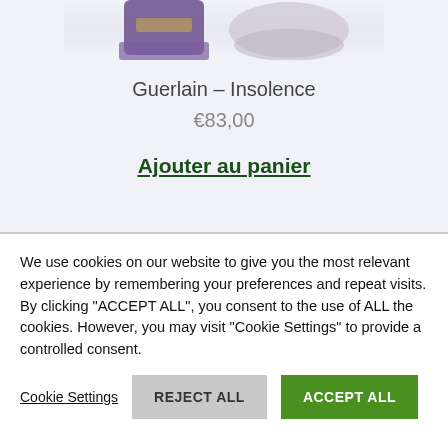[Figure (photo): Partial product image of Guerlain Insolence perfume bottle at the top of the page, cropped]
Guerlain – Insolence
€83,00
Ajouter au panier
We use cookies on our website to give you the most relevant experience by remembering your preferences and repeat visits. By clicking "ACCEPT ALL", you consent to the use of ALL the cookies. However, you may visit "Cookie Settings" to provide a controlled consent.
Cookie Settings   REJECT ALL   ACCEPT ALL